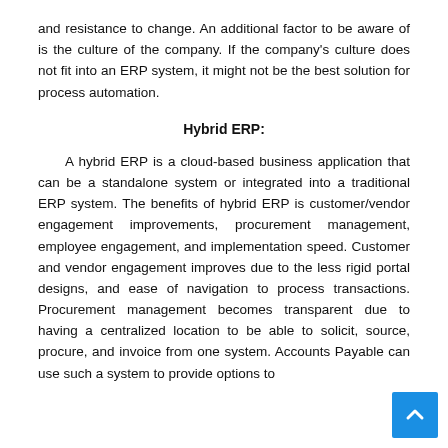and resistance to change. An additional factor to be aware of is the culture of the company. If the company's culture does not fit into an ERP system, it might not be the best solution for process automation.
Hybrid ERP:
A hybrid ERP is a cloud-based business application that can be a standalone system or integrated into a traditional ERP system. The benefits of hybrid ERP is customer/vendor engagement improvements, procurement management, employee engagement, and implementation speed. Customer and vendor engagement improves due to the less rigid portal designs, and ease of navigation to process transactions. Procurement management becomes transparent due to having a centralized location to be able to solicit, source, procure, and invoice from one system. Accounts Payable can use such a system to provide options to